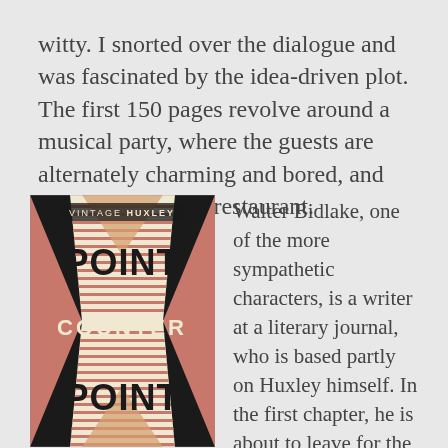witty. I snorted over the dialogue and was fascinated by the idea-driven plot. The first 150 pages revolve around a musical party, where the guests are alternately charming and bored, and an after-party at a restaurant.
[Figure (illustration): Book cover of 'Point Counter Point' from Vintage Huxley series. Art deco design with geometric X patterns in salmon/pink, black, and gold/cream colors. Text reads 'VINTAGE HUXLEY' at top, 'POINT' in large bold letters, 'COUNTER' in the middle, and 'POINT' again at the bottom.]
Walter Bidlake, one of the more sympathetic characters, is a writer at a literary journal, who is based partly on Huxley himself. In the first chapter, he is about to leave for the party, while his pregnant lover